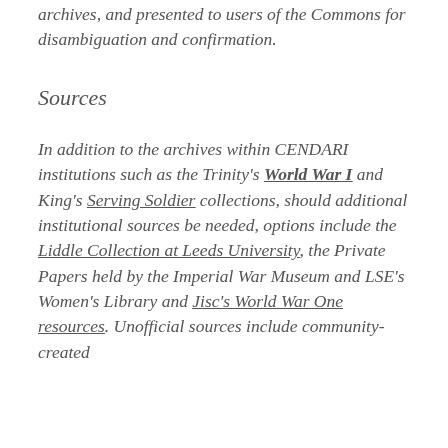archives, and presented to users of the Commons for disambiguation and confirmation.
Sources
In addition to the archives within CENDARI institutions such as the Trinity's World War I and King's Serving Soldier collections, should additional institutional sources be needed, options include the Liddle Collection at Leeds University, the Private Papers held by the Imperial War Museum and LSE's Women's Library and Jisc's World War One resources. Unofficial sources include community-created